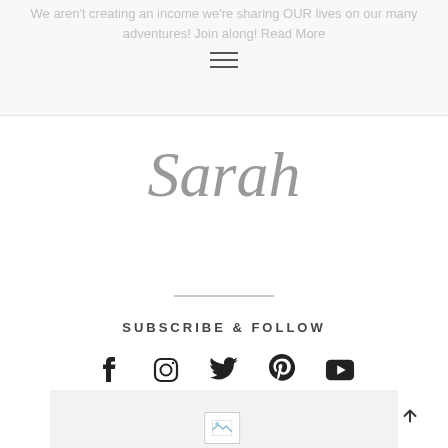We aren't creating an income we're sharing OUR lives on our many adventures! Join along! Read More
[Figure (other): Cursive script signature reading 'Sarah' in gray handwritten style]
SUBSCRIBE & FOLLOW
[Figure (infographic): Social media icons: Facebook, Instagram, Twitter, Pinterest, YouTube]
[Figure (other): Broken image placeholder and beginning of mailing subscription section]
Subscribe to our Mailing